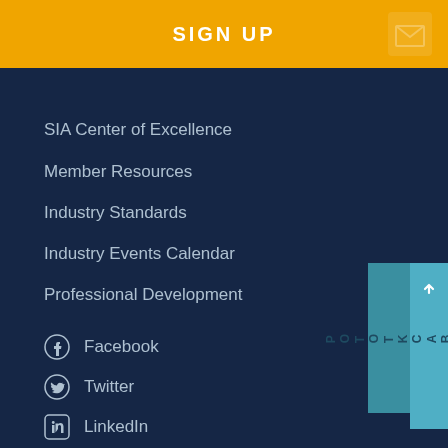[Figure (screenshot): Orange sign-up banner with 'SIGN UP' text and envelope icon]
SIA Center of Excellence
Member Resources
Industry Standards
Industry Events Calendar
Professional Development
Facebook
Twitter
LinkedIn
[Figure (infographic): Teal 'BACK TO TOP' button with upward arrow on the right side]